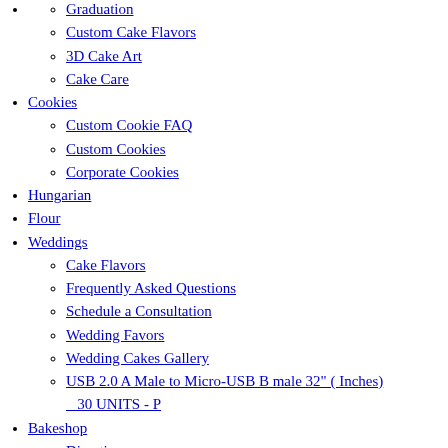Graduation
Custom Cake Flavors
3D Cake Art
Cake Care
Cookies
Custom Cookie FAQ
Custom Cookies
Corporate Cookies
Hungarian
Flour
Weddings
Cake Flavors
Frequently Asked Questions
Schedule a Consultation
Wedding Favors
Wedding Cakes Gallery
USB 2.0 A Male to Micro-USB B male 32" ( Inches) 30 UNITS - P
Bakeshop
Directions
Bread Bake Times
Lunch Menu
Monthly Specials
BAKE! Classes
Blog
Our Cookbooks